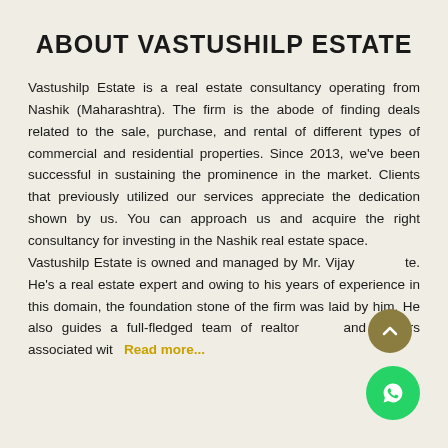ABOUT VASTUSHILP ESTATE
Vastushilp Estate is a real estate consultancy operating from Nashik (Maharashtra). The firm is the abode of finding deals related to the sale, purchase, and rental of different types of commercial and residential properties. Since 2013, we’ve been successful in sustaining the prominence in the market. Clients that previously utilized our services appreciate the dedication shown by us. You can approach us and acquire the right consultancy for investing in the Nashik real estate space. Vastushilp Estate is owned and managed by Mr. Vijay …te. He’s a real estate expert and owing to his years of experience in this domain, the foundation stone of the firm was laid by him. He also guides a full-fledged team of realtors and brokers associated wit Read more...